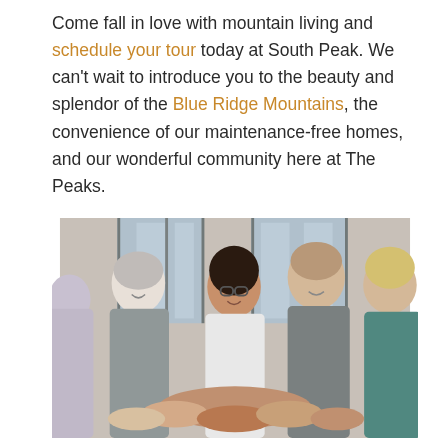Come fall in love with mountain living and schedule your tour today at South Peak. We can't wait to introduce you to the beauty and splendor of the Blue Ridge Mountains, the convenience of our maintenance-free homes, and our wonderful community here at The Peaks.
[Figure (photo): A group of diverse people smiling and putting their hands together in a team gesture, photographed in an indoor setting with large windows in the background.]